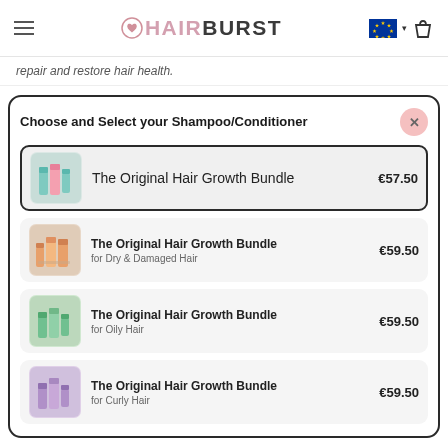HAIRBURST
repair and restore hair health.
Choose and Select your Shampoo/Conditioner
The Original Hair Growth Bundle €57.50
The Original Hair Growth Bundle for Dry & Damaged Hair €59.50
The Original Hair Growth Bundle for Oily Hair €59.50
The Original Hair Growth Bundle for Curly Hair €59.50